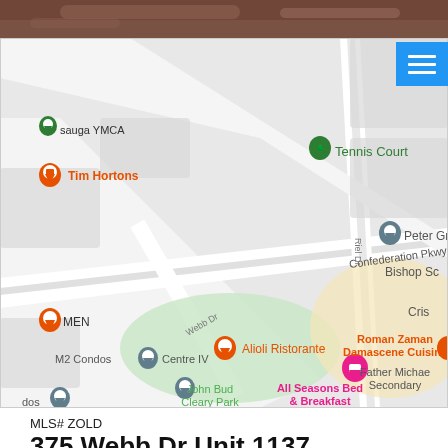[Figure (photo): Partial photo of a property at the top of the page, showing warm brown tones]
[Figure (map): Google Maps view showing area near Confederation Pkwy and Webb Dr in Mississauga, Ontario. Points of interest include: sauga YMCA, Tim Hortons, Tennis Court, Peter Grant P, MEN (restaurant icon), Alioli Ristorante, Bishop Sc, M2 Condos, Centre IV, Confederation Pkwy, Riel Dr, Cris, Webb Dr, Roman Zaman Damascene Cuisine, John Bud Cleary Park, All Seasons Bed & Breakfast, Father Michael Secondary, dos (partial label)]
MLS# ZOLD
375 Webb Dr Unit 1137